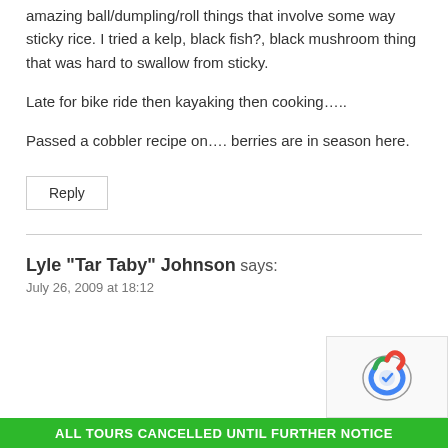amazing ball/dumpling/roll things that involve some way sticky rice. I tried a kelp, black fish?, black mushroom thing that was hard to swallow from sticky.
Late for bike ride then kayaking then cooking…..
Passed a cobbler recipe on…. berries are in season here.
Reply
Lyle "Tar Taby" Johnson says:
July 26, 2009 at 18:12
ALL TOURS CANCELLED UNTIL FURTHER NOTICE